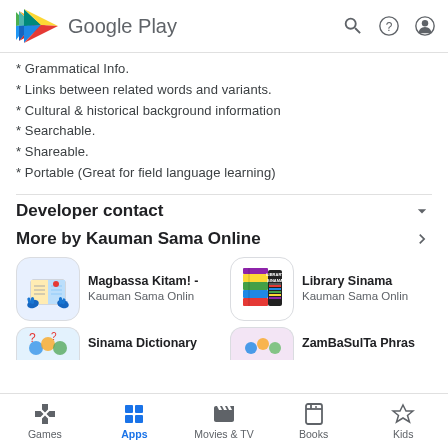Google Play
* Grammatical Info.
* Links between related words and variants.
* Cultural & historical background information
* Searchable.
* Shareable.
* Portable (Great for field language learning)
Developer contact
More by Kauman Sama Online
[Figure (screenshot): App icon for Magbassa Kitam! - Kauman Sama Onlin, showing a book with hands]
Magbassa Kitam! -
Kauman Sama Onlin
[Figure (screenshot): App icon for Library Sinama - Kauman Sama Onlin, showing stacked colorful books with text Library Sinama]
Library Sinama
Kauman Sama Onlin
Sinama Dictionary
ZamBaSulTa Phras
Games  Apps  Movies & TV  Books  Kids